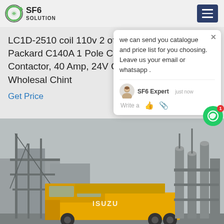SF6 SOLUTION
LC1D-2510 coil 110v 2 offers from $34.00 Packard C140A 1 Pole Contactor Coil Contactor, 40 Amp, 24V Chint Meter - Factory Wholesal Chint
Get Price
we can send you catalogue and price list for you choosing.
Leave us your email or whatsapp .
SF6 Expert    just now
Write a
[Figure (photo): Outdoor industrial electrical substation with large cylindrical SF6 gas-insulated switchgear equipment and an Isuzu yellow truck in the foreground, overcast sky.]